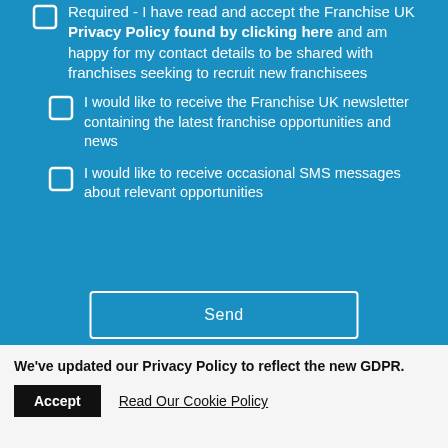Required - I have read and accept the Franchise UK Privacy Policy found by clicking here and am happy for my contact details to be shared with franchises seeking to recruit new franchisees
I would like to receive the Franchise UK newsletter containing the latest franchise opportunities and news
I would like to receive occasional SMS messages about relevant opportunities
Send
We've updated our Privacy Policy to reflect the new GDPR.
Accept
Read Our Cookie Policy